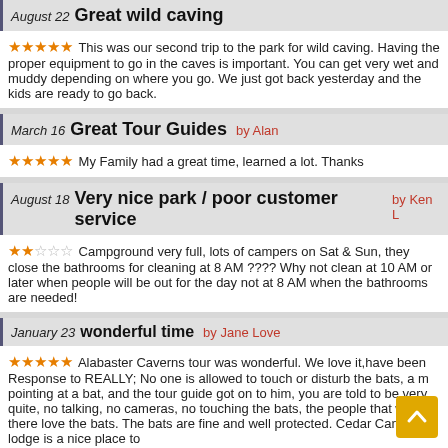August 22 Great wild caving
★★★★★ This was our second trip to the park for wild caving. Having the proper equipment to go in the caves is important. You can get very wet and muddy depending on where you go. We just got back yesterday and the kids are ready to go back.
March 16 Great Tour Guides by Alan
★★★★★ My Family had a great time, learned a lot. Thanks
August 18 Very nice park / poor customer service by Ken L
★★☆☆☆ Campground very full, lots of campers on Sat & Sun, they close the bathrooms for cleaning at 8 AM ???? Why not clean at 10 AM or later when people will be out for the day not at 8 AM when the bathrooms are needed!
January 23 wonderful time by Jane Love
★★★★★ Alabaster Caverns tour was wonderful. We love it,have been Response to REALLY; No one is allowed to touch or disturb the bats, a m pointing at a bat, and the tour guide got on to him, you are told to be very quite, no talking, no cameras, no touching the bats, the people that work there love the bats. The bats are fine and well protected. Cedar Canyon lodge is a nice place to